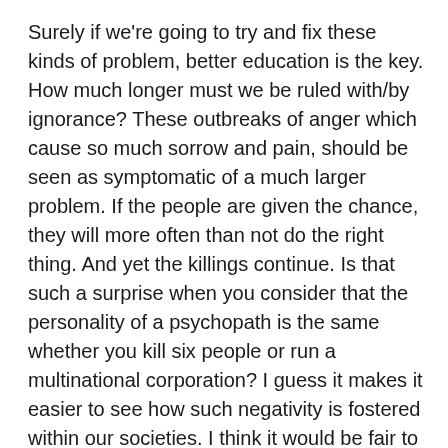Surely if we're going to try and fix these kinds of problem, better education is the key. How much longer must we be ruled with/by ignorance? These outbreaks of anger which cause so much sorrow and pain, should be seen as symptomatic of a much larger problem. If the people are given the chance, they will more often than not do the right thing. And yet the killings continue. Is that such a surprise when you consider that the personality of a psychopath is the same whether you kill six people or run a multinational corporation? I guess it makes it easier to see how such negativity is fostered within our societies. I think it would be fair to postulate that if you fell into the latter category (CEO), you're more than likely ticking the Ted Bundy box as well.
Not that any one society or country is immune to this madness. Whilst I can admit to my fair share of high school anger and the enveloping shroud of darkness that ignited